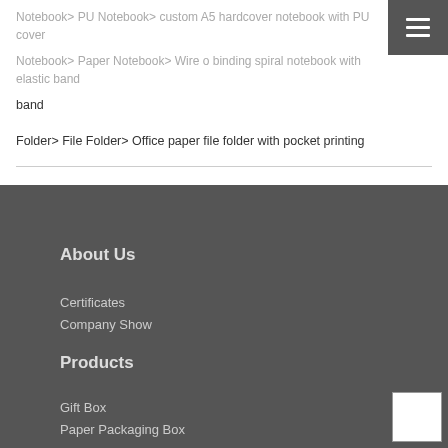Notebook> PU Notebook> custom A5 hardcover notebook with PU cover
Notebook> Paper Notebook> Wire o binding spiral notebook with elastic band
Folder> File Folder> Office paper file folder with pocket printing
About Us
Certificates
Company Show
Products
Gift Box
Paper Packaging Box